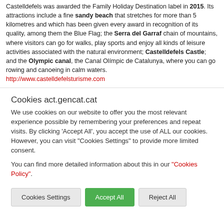Castelldefels was awarded the Family Holiday Destination label in 2015. Its attractions include a fine sandy beach that stretches for more than 5 kilometres and which has been given every award in recognition of its quality, among them the Blue Flag; the Serra del Garraf chain of mountains, where visitors can go for walks, play sports and enjoy all kinds of leisure activities associated with the natural environment; Castelldefels Castle; and the Olympic canal, the Canal Olímpic de Catalunya, where you can go rowing and canoeing in calm waters. http://www.castelldefelsturisme.com
Cookies act.gencat.cat
We use cookies on our website to offer you the most relevant experience possible by remembering your preferences and repeat visits. By clicking 'Accept All', you accept the use of ALL our cookies. However, you can visit "Cookies Settings" to provide more limited consent.
You can find more detailed information about this in our "Cookies Policy".
Cookies Settings
Accept All
Reject All